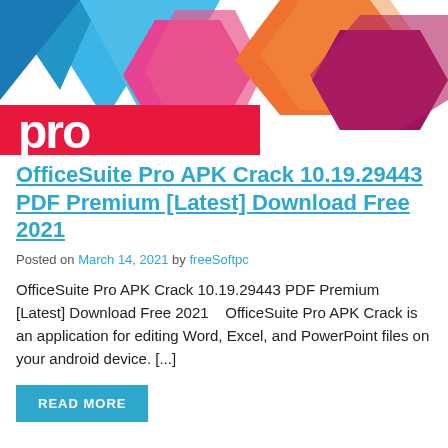[Figure (logo): OfficeSuite Pro logo with colorful hexagonal shapes and 'pro' text in red/pink on white background. Blue and teal triangles at top left, pink/magenta hexagon in center, orange hexagon at top right, purple/dark red hexagon at right.]
OfficeSuite Pro APK Crack 10.19.29443 PDF Premium [Latest] Download Free 2021
Posted on March 14, 2021 by freeSoftpc
OfficeSuite Pro APK Crack 10.19.29443 PDF Premium [Latest] Download Free 2021    OfficeSuite Pro APK Crack is an application for editing Word, Excel, and PowerPoint files on your android device. [...]
READ MORE